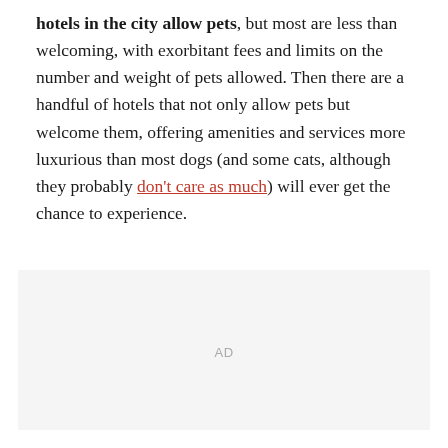hotels in the city allow pets, but most are less than welcoming, with exorbitant fees and limits on the number and weight of pets allowed. Then there are a handful of hotels that not only allow pets but welcome them, offering amenities and services more luxurious than most dogs (and some cats, although they probably don't care as much) will ever get the chance to experience.
AD